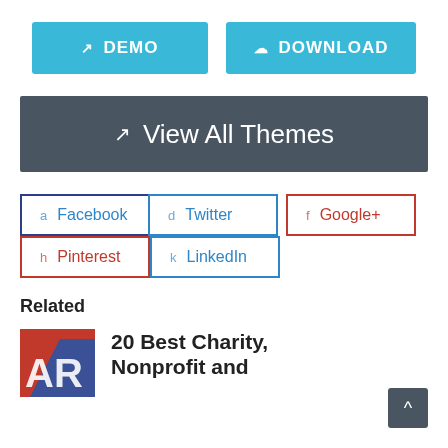[Figure (other): Two teal/cyan action buttons: DEMO (with external link icon) and DOWNLOAD (with cloud/download icon)]
[Figure (other): Dark grey banner button with external link icon and text 'View All Themes']
[Figure (other): Social sharing buttons row: Facebook (blue border), Twitter (blue border), Google+ (red border), Pinterest (red border), LinkedIn (blue border)]
Related
20 Best Charity, Nonprofit and